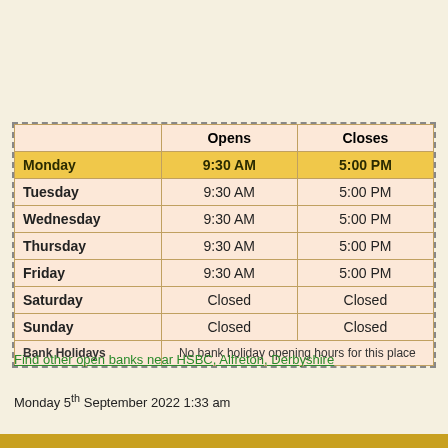|  | Opens | Closes |
| --- | --- | --- |
| Monday | 9:30 AM | 5:00 PM |
| Tuesday | 9:30 AM | 5:00 PM |
| Wednesday | 9:30 AM | 5:00 PM |
| Thursday | 9:30 AM | 5:00 PM |
| Friday | 9:30 AM | 5:00 PM |
| Saturday | Closed | Closed |
| Sunday | Closed | Closed |
| Bank Holidays | No bank holiday opening hours for this place |  |
Find other open banks near HSBC, Alfreton, Derbyshire
Monday 5th September 2022 1:33 am